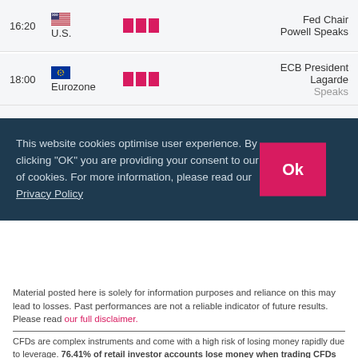| Time | Country | Impact | Event |
| --- | --- | --- | --- |
| 16:20 | U.S. | high | Fed Chair Powell Speaks |
| 18:00 | Eurozone | high | ECB President Lagarde Speaks |
| 23:45 |  | high | RB... Ell... |
This website cookies optimise user experience. By clicking "OK" you are providing your consent to our use of cookies. For more information, please read our Privacy Policy
Material posted here is solely for information purposes and reliance on this may lead to losses. Past performances are not a reliable indicator of future results. Please read our full disclaimer.
CFDs are complex instruments and come with a high risk of losing money rapidly due to leverage. 76.41% of retail investor accounts lose money when trading CFDs with this provider. You should consider whether you understand how CFDs work and whether you can afford to take the high risk of losing your money.